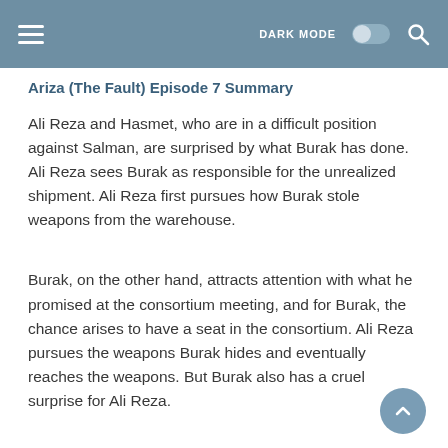Ariza (The Fault) Episode 7 Summary
Ali Reza and Hasmet, who are in a difficult position against Salman, are surprised by what Burak has done. Ali Reza sees Burak as responsible for the unrealized shipment. Ali Reza first pursues how Burak stole weapons from the warehouse.
Burak, on the other hand, attracts attention with what he promised at the consortium meeting, and for Burak, the chance arises to have a seat in the consortium. Ali Reza pursues the weapons Burak hides and eventually reaches the weapons. But Burak also has a cruel surprise for Ali Reza.